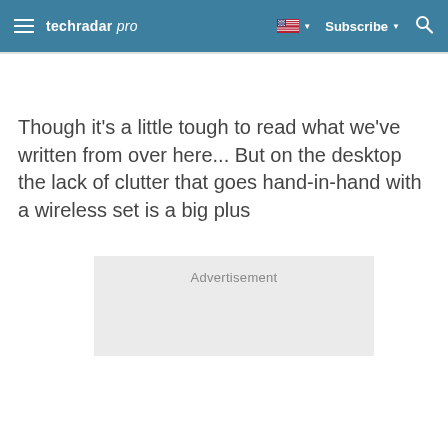techradar pro | Subscribe | [flag] [search]
Though it's a little tough to read what we've written from over here... But on the desktop the lack of clutter that goes hand-in-hand with a wireless set is a big plus
[Figure (other): Advertisement placeholder block]